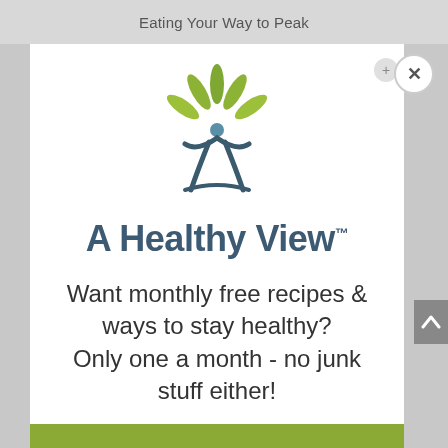Eating Your Way to Peak
[Figure (logo): A Healthy View logo: stylized human figure with arms raised and green leaves above, dark teal curved legs below]
A Healthy View™
Want monthly free recipes & ways to stay healthy?
Only one a month - no junk stuff either!